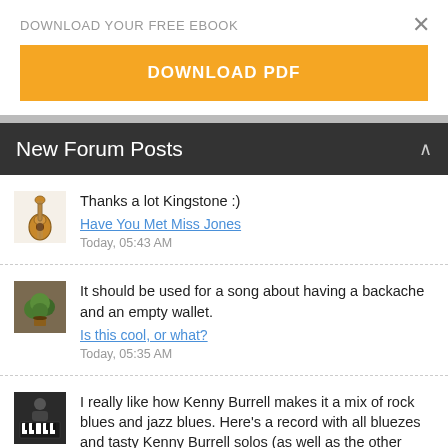DOWNLOAD YOUR FREE EBOOK
[Figure (other): Orange Download PDF button]
New Forum Posts
Thanks a lot Kingstone :)
Have You Met Miss Jones
Today, 05:43 AM
It should be used for a song about having a backache and an empty wallet.
Is this cool, or what?
Today, 05:35 AM
I really like how Kenny Burrell makes it a mix of rock blues and jazz blues. Here's a record with all bluezes and tasty Kenny Burrell solos (as well as the other cats). I think you'll like it if...